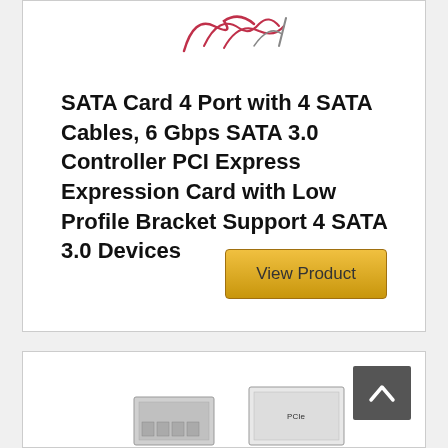[Figure (illustration): Partial handwritten/decorative text visible at the top of the first product card, appearing to be a logo or stylized script in red/pink ink]
SATA Card 4 Port with 4 SATA Cables, 6 Gbps SATA 3.0 Controller PCI Express Expression Card with Low Profile Bracket Support 4 SATA 3.0 Devices
[Figure (other): View Product button with golden/yellow background]
[Figure (photo): Bottom product card showing a partial image of what appears to be a SATA card/hardware product with a scroll-to-top button in the top right corner]